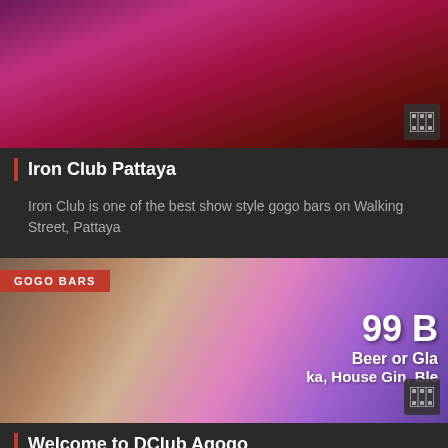[Figure (photo): Dimly lit gogo bar scene with pink/purple lighting, performer on stage]
Iron Club Pattaya
Iron Club is one of the best show style gogo bars on Walking Street, Pattaya
[Figure (photo): Young woman in blue top, beer bottles and promotional sign showing 99B Beer or Glass, Vodka, House Gin, Blend in background; GOGO BARS badge overlay]
Welcome to DClub Agogo